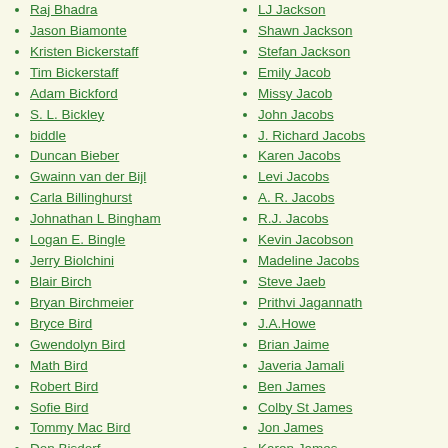Raj Bhadra
Jason Biamonte
Kristen Bickerstaff
Tim Bickerstaff
Adam Bickford
S. L. Bickley
biddle
Duncan Bieber
Gwainn van der Bijl
Carla Billinghurst
Johnathan L Bingham
Logan E. Bingle
Jerry Biolchini
Blair Birch
Bryan Birchmeier
Bryce Bird
Gwendolyn Bird
Math Bird
Robert Bird
Sofie Bird
Tommy Mac Bird
Don Bisdorf
Hilary B.
LJ Jackson
Shawn Jackson
Stefan Jackson
Emily Jacob
Missy Jacob
John Jacobs
J. Richard Jacobs
Karen Jacobs
Levi Jacobs
A. R. Jacobs
R.J. Jacobs
Kevin Jacobson
Madeline Jacobs
Steve Jaeb
Prithvi Jagannath
J.A.Howe
Brian Jaime
Javeria Jamali
Ben James
Colby St James
Jon James
Karen James
Kary James
Marissa James
Mindy James
Paul James